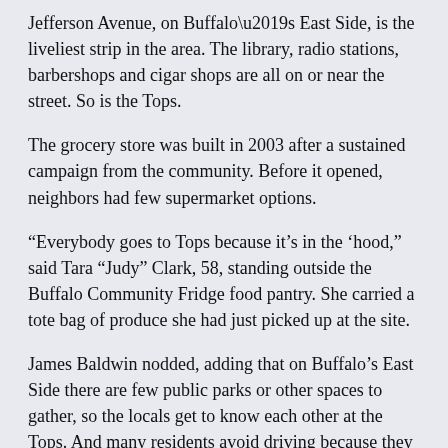Jefferson Avenue, on Buffalo’s East Side, is the liveliest strip in the area. The library, radio stations, barbershops and cigar shops are all on or near the street. So is the Tops.
The grocery store was built in 2003 after a sustained campaign from the community. Before it opened, neighbors had few supermarket options.
“Everybody goes to Tops because it’s in the ‘hood,” said Tara “Judy” Clark, 58, standing outside the Buffalo Community Fridge food pantry. She carried a tote bag of produce she had just picked up at the site.
James Baldwin nodded, adding that on Buffalo’s East Side there are few public parks or other spaces to gather, so the locals get to know each other at the Tops. And many residents avoid driving because they are afraid of the police, said Baldwin, 60.